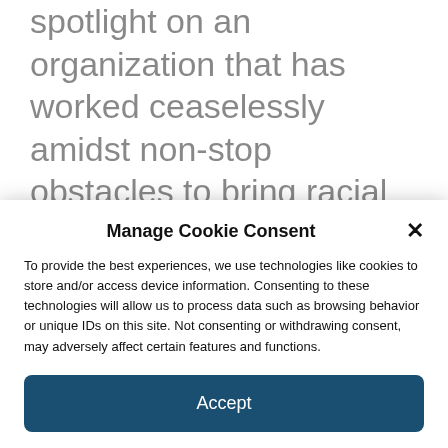spotlight on an organization that has worked ceaselessly amidst non-stop obstacles to bring racial equity to our country. This week we're asking you to take a look at the website for the NAACP and consider donating, as we did, to help support the work being done to help move us closer to the goals of equal
Manage Cookie Consent
To provide the best experiences, we use technologies like cookies to store and/or access device information. Consenting to these technologies will allow us to process data such as browsing behavior or unique IDs on this site. Not consenting or withdrawing consent, may adversely affect certain features and functions.
Accept
Digital Brand Expressions Privacy & Cookie Policy